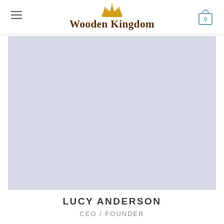Wooden Kingdom
[Figure (photo): Large light blue-grey placeholder photo area for a person portrait]
LUCY ANDERSON
CEO / FOUNDER